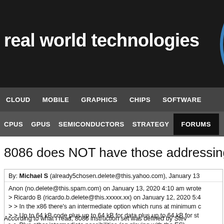real world technologies
CLOUD  MOBILE  GRAPHICS  CHIPS  SOFTWARE
CPUS  GPUS  SEMICONDUCTORS  STRATEGY  FORUMS
8086 does NOT have those addressing m
By: Michael S (already5chosen.delete@this.yahoo.com), January 13...
Anon (no.delete@this.spam.com) on January 13, 2020 4:10 am wrote:
> Ricardo B (ricardo.b.delete@this.xxxxx.xx) on January 12, 2020 5:4
> > In the x86 there's an intermediate option which runs at minimum c
> > Up to 64 kB code plus up to 64 kB for data plus up to 64 kB for st
> > Plus other intermediate possibilities (eg playing with the ES).
>
> So all that trouble for speeding up 64kb-256kb apps? A rather limite
>
> Because of this discussion I was thinking about 8086 limited address
> maybe the initial idea was to use 4 registers pairs instead, with flat
> with the idea of segments, convincing management might have bee
According to what I read, 8086 instruction set was defined by Steve